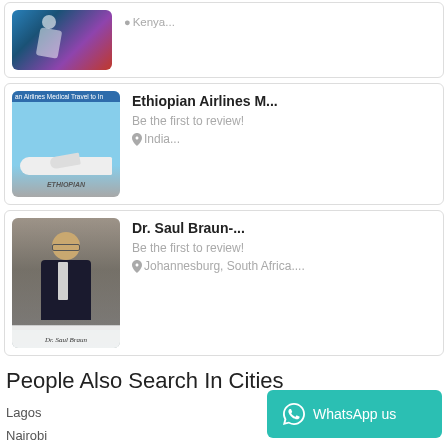[Figure (other): Partial card showing image with Kenya location]
Kenya...
[Figure (other): Ethiopian Airlines airplane photo with text 'an Airlines Medical Travel to In' visible]
Ethiopian Airlines M...
Be the first to review!
India...
[Figure (photo): Photo of Dr. Saul Braun, man in suit sitting at desk with bookshelves behind him, caption 'Dr. Saul Braun']
Dr. Saul Braun-...
Be the first to review!
Johannesburg, South Africa....
People Also Search In Cities
Lagos
Nairobi
Addis Ababa
Mogadishu
Dar es Salaam